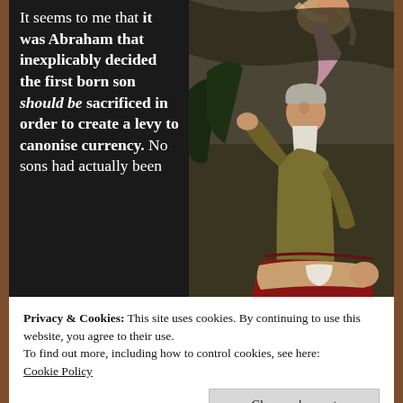It seems to me that it was Abraham that inexplicably decided the first born son should be sacrificed in order to create a levy to canonise currency. No sons had actually been
[Figure (illustration): Classical oil painting depicting the Sacrifice of Isaac — an elderly bearded man (Abraham) looks upward toward an angel above while a young man lies on an altar draped in red cloth.]
Privacy & Cookies: This site uses cookies. By continuing to use this website, you agree to their use.
To find out more, including how to control cookies, see here: Cookie Policy
Close and accept